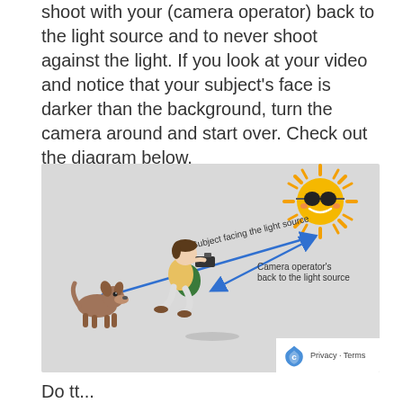shoot with your (camera operator) back to the light source and to never shoot against the light. If you look at your video and notice that your subject's face is darker than the background, turn the camera around and start over. Check out the diagram below.
[Figure (illustration): Diagram showing camera operator sitting with back to sun (light source, top right), pointing camera at a dog (subject) on the left. Blue arrows label 'Subject facing the light source' pointing from camera toward dog/sun direction, and 'Camera operator's back to the light source' pointing from camera operator toward sun.]
Do tt...